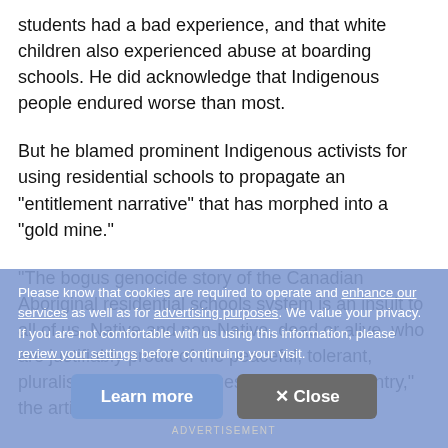students had a bad experience, and that white children also experienced abuse at boarding schools. He did acknowledge that Indigenous people endured worse than most.
But he blamed prominent Indigenous activists for using residential schools to propagate an "entitlement narrative" that has morphed into a "gold mine."
"The bogus genocide story of the Canadian Aboriginal residential schools system is an insult to all of us, Native and non-Native, dead or alive, who are justifiably proud of the peaceful, tolerant, pluralistic history and values of our great country," the article concludes.
Please know that cookies are required to operate and enhance our services as well as for advertising purposes. We value your privacy. If you are not comfortable with us using this information, please review your settings before continuing your visit.